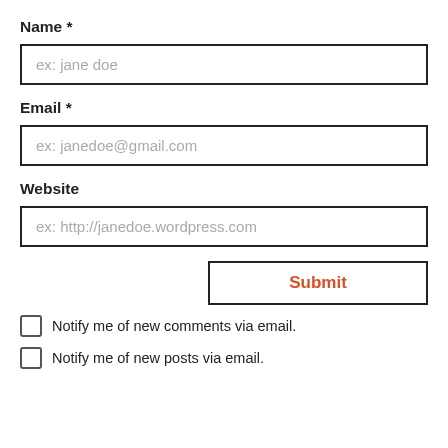Name *
[Figure (screenshot): Text input field with placeholder text 'ex: jane doe']
Email *
[Figure (screenshot): Text input field with placeholder text 'ex: janedoe@gmail.com']
Website
[Figure (screenshot): Text input field with placeholder text 'ex: http://janedoe.wordpress.com']
[Figure (screenshot): Submit button with red text 'Submit' and black border]
Notify me of new comments via email.
Notify me of new posts via email.